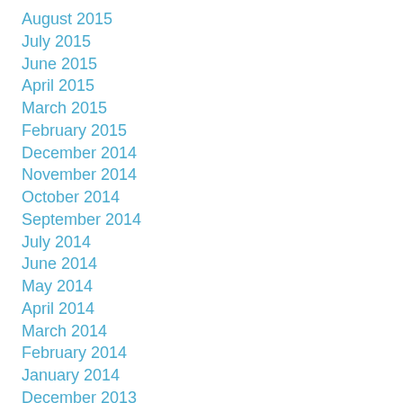August 2015
July 2015
June 2015
April 2015
March 2015
February 2015
December 2014
November 2014
October 2014
September 2014
July 2014
June 2014
May 2014
April 2014
March 2014
February 2014
January 2014
December 2013
November 2013
October 2013